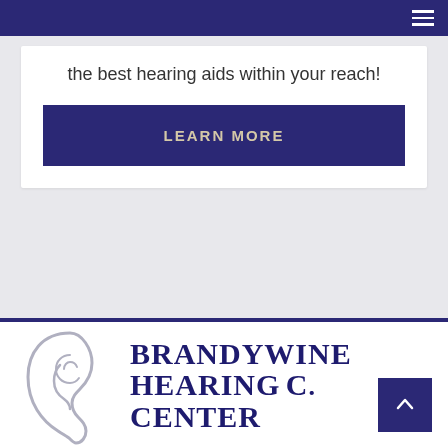Navigation bar with hamburger menu
the best hearing aids within your reach!
LEARN MORE
[Figure (logo): Brandywine Hearing Center logo with ear illustration and serif text reading BRANDYWINE HEARING CENTER]